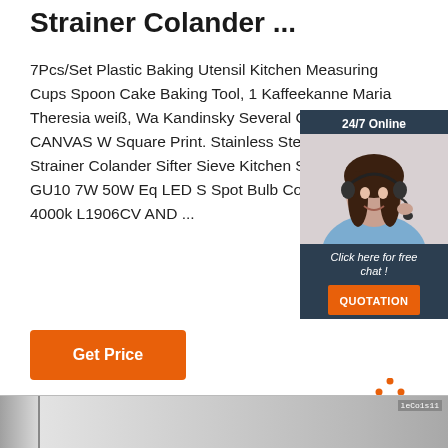Strainer Colander ...
7Pcs/Set Plastic Baking Utensil Kitchen Measuring Cups Spoon Cake Baking Tool, 1 Kaffeekanne Maria Theresia weiß, Wa Kandinsky Several Circles CANVAS W Square Print. Stainless Steel Fine Me Strainer Colander Sifter Sieve Kitchen Searchlight GU10 7W 50W Eq LED S Spot Bulb Cool White 4000k L1906CV AND ...
[Figure (infographic): Chat widget with a woman wearing a headset, dark blue background, '24/7 Online' header, 'Click here for free chat!' text, and an orange QUOTATION button]
Get Price
[Figure (other): Orange dots forming triangle with 'TOP' text below in orange letters]
[Figure (photo): Bottom strip showing a metallic/stainless steel surface with light and shadow gradients]